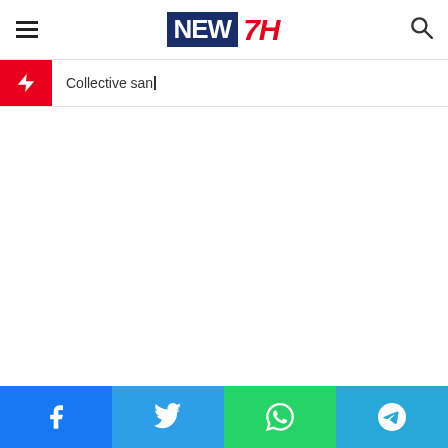NEW7H - Collective san_
Collective san_
Facebook Twitter WhatsApp Telegram